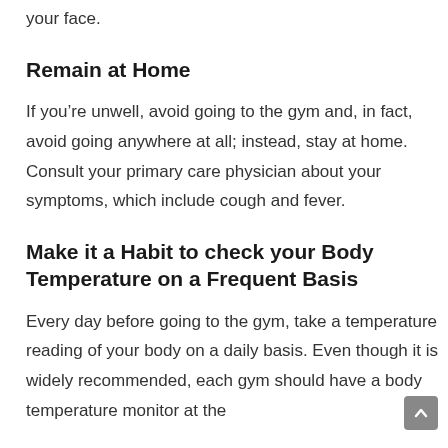your face.
Remain at Home
If you’re unwell, avoid going to the gym and, in fact, avoid going anywhere at all; instead, stay at home. Consult your primary care physician about your symptoms, which include cough and fever.
Make it a Habit to check your Body Temperature on a Frequent Basis
Every day before going to the gym, take a temperature reading of your body on a daily basis. Even though it is widely recommended, each gym should have a body temperature monitor at the